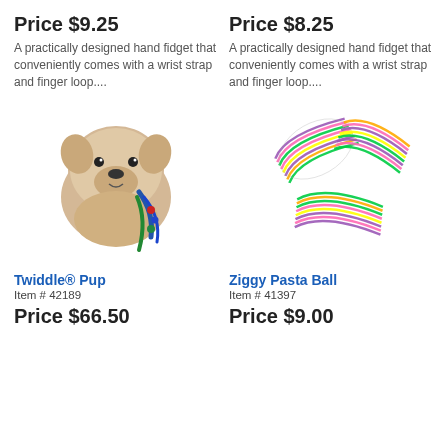Price $9.25
Price $8.25
A practically designed hand fidget that conveniently comes with a wrist strap and finger loop....
A practically designed hand fidget that conveniently comes with a wrist strap and finger loop....
[Figure (photo): Twiddle Pup plush dog-face hand fidget toy with ribbons and beads attached]
[Figure (photo): Three colorful Ziggy Pasta Ball fidget toys with neon strands in pink, yellow, green and purple]
Twiddle® Pup
Item # 42189
Price $66.50
Ziggy Pasta Ball
Item # 41397
Price $9.00